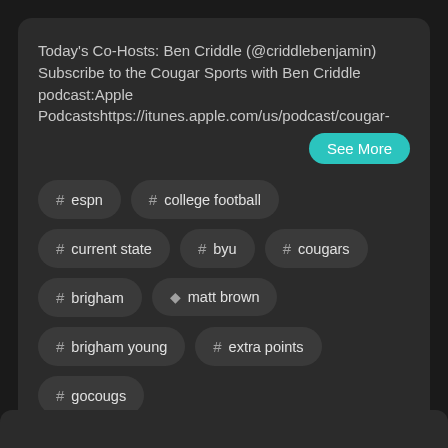Today's Co-Hosts: Ben Criddle (@criddlebenjamin) Subscribe to the Cougar Sports with Ben Criddle podcast:Apple Podcastshttps://itunes.apple.com/us/podcast/cougar-
See More
# espn
# college football
# current state
# byu
# cougars
# brigham
person matt brown
# brigham young
# extra points
# gocougs